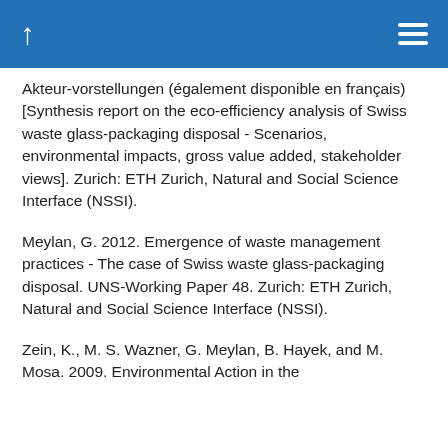Akteur-vorstellungen (également disponible en français) [Synthesis report on the eco-efficiency analysis of Swiss waste glass-packaging disposal - Scenarios, environmental impacts, gross value added, stakeholder views]. Zurich: ETH Zurich, Natural and Social Science Interface (NSSI).
Meylan, G. 2012. Emergence of waste management practices - The case of Swiss waste glass-packaging disposal. UNS-Working Paper 48. Zurich: ETH Zurich, Natural and Social Science Interface (NSSI).
Zein, K., M. S. Wazner, G. Meylan, B. Hayek, and M. Mosa. 2009. Environmental Action in the